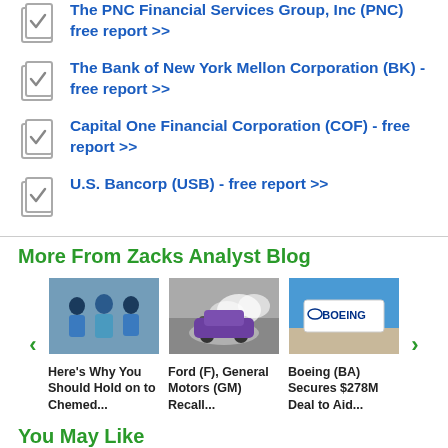The PNC Financial Services Group, Inc (PNC) free report >>
The Bank of New York Mellon Corporation (BK) - free report >>
Capital One Financial Corporation (COF) - free report >>
U.S. Bancorp (USB) - free report >>
More From Zacks Analyst Blog
[Figure (photo): Medical professionals in scrubs]
Here's Why You Should Hold on to Chemed...
[Figure (photo): Car with smoke/tire burnout]
Ford (F), General Motors (GM) Recall...
[Figure (photo): Boeing sign/logo outdoors]
Boeing (BA) Secures $278M Deal to Aid...
You May Like